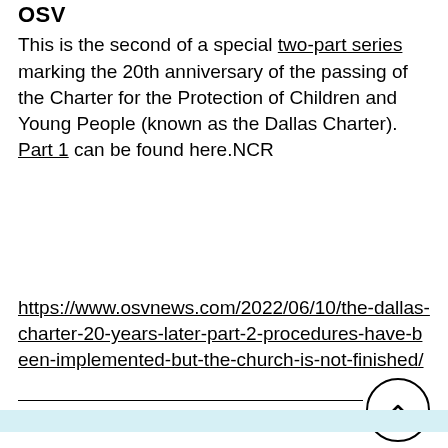OSV
This is the second of a special two-part series marking the 20th anniversary of the passing of the Charter for the Protection of Children and Young People (known as the Dallas Charter). Part 1 can be found here.NCR
https://www.osvnews.com/2022/06/10/the-dallas-charter-20-years-later-part-2-procedures-have-been-implemented-but-the-church-is-not-finished/